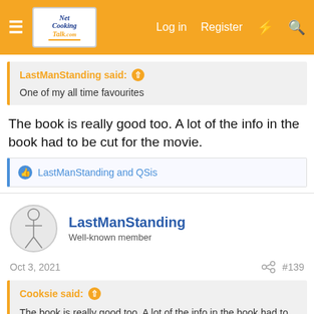Net Cooking Talk — Log in  Register
LastManStanding said:
One of my all time favourites
The book is really good too. A lot of the info in the book had to be cut for the movie.
LastManStanding and QSis
LastManStanding
Well-known member
Oct 3, 2021  #139
Cooksie said:
The book is really good too. A lot of the info in the book had to be cut for the movie.